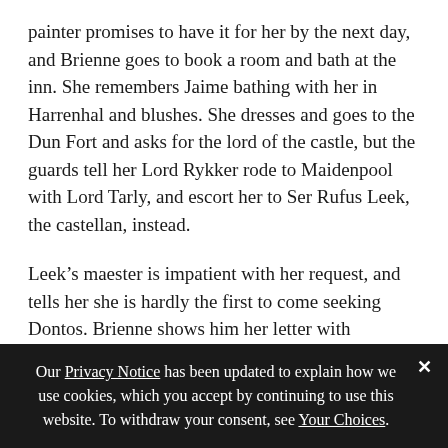painter promises to have it for her by the next day, and Brienne goes to book a room and bath at the inn. She remembers Jaime bathing with her in Harrenhal and blushes. She dresses and goes to the Dun Fort and asks for the lord of the castle, but the guards tell her Lord Rykker rode to Maidenpool with Lord Tarly, and escort her to Ser Rufus Leek, the castellan, instead.
Leek’s maester is impatient with her request, and tells her she is hardly the first to come seeking Dontos. Brienne shows him her letter with Tommen’s signature, whereupon he tells her the story of how Lord Denys Darklyn had captured King Aerys and held the Hand (Tywin) at bay for six months, supposedly at
Our Privacy Notice has been updated to explain how we use cookies, which you accept by continuing to use this website. To withdraw your consent, see Your Choices.